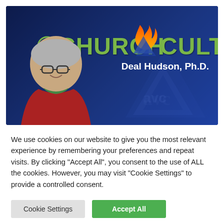[Figure (photo): Church and Culture podcast banner featuring the text 'CHURCH & CULTURE' in large olive/green letters on a dark navy blue background, with a flame logo icon in orange/red/green, the text 'Deal Hudson, Ph.D.' in white, and a photo of an older white man with glasses, gray hair, wearing a red jacket and green scarf on the left side.]
We use cookies on our website to give you the most relevant experience by remembering your preferences and repeat visits. By clicking "Accept All", you consent to the use of ALL the cookies. However, you may visit "Cookie Settings" to provide a controlled consent.
Cookie Settings
Accept All